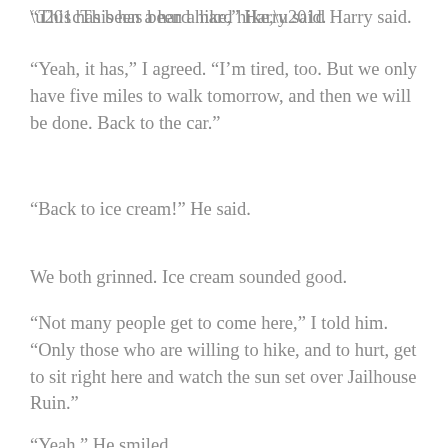“This has been a hard hike,” Harry said.
“Yeah, it has,” I agreed. “I’m tired, too. But we only have five miles to walk tomorrow, and then we will be done. Back to the car.”
“Back to ice cream!” He said.
We both grinned. Ice cream sounded good.
“Not many people get to come here,” I told him. “Only those who are willing to hike, and to hurt, get to sit right here and watch the sun set over Jailhouse Ruin.”
“Yeah.” He smiled.
Over one hundred years ago, Prudden wrote that in this place, “You get down to sheer manhood, face to face with the bare, relentless fascinating, old earth.” The complexities of modern life dry up in the canyon country.